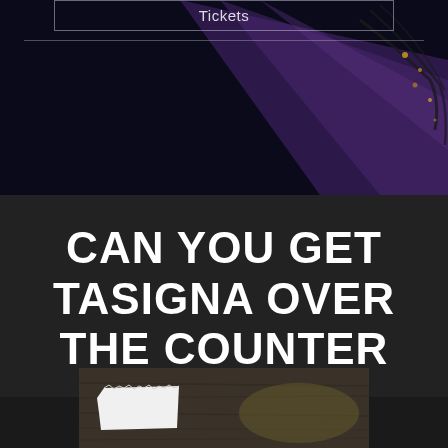[Figure (photo): Dark background image with purple diagonal light beam and cables/wires in upper right corner, with a 'Tickets' navigation bar overlay at the top]
CAN YOU GET TASIGNA OVER THE COUNTER
[Figure (photo): Photo of a dark weathered wooden surface with a white torn paper piece attached to the upper left area]